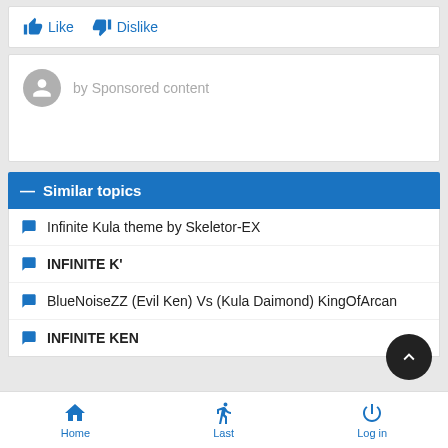Like  Dislike
by Sponsored content
— Similar topics
Infinite Kula theme by Skeletor-EX
INFINITE K'
BlueNoiseZZ (Evil Ken) Vs (Kula Daimond) KingOfArcan
INFINITE KEN
Home  Last  Log in